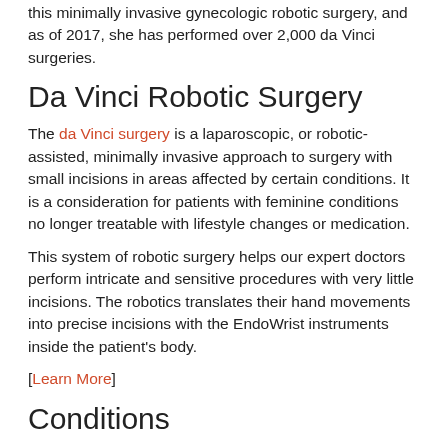this minimally invasive gynecologic robotic surgery, and as of 2017, she has performed over 2,000 da Vinci surgeries.
Da Vinci Robotic Surgery
The da Vinci surgery is a laparoscopic, or robotic-assisted, minimally invasive approach to surgery with small incisions in areas affected by certain conditions. It is a consideration for patients with feminine conditions no longer treatable with lifestyle changes or medication.
This system of robotic surgery helps our expert doctors perform intricate and sensitive procedures with very little incisions. The robotics translates their hand movements into precise incisions with the EndoWrist instruments inside the patient's body.
[Learn More]
Conditions